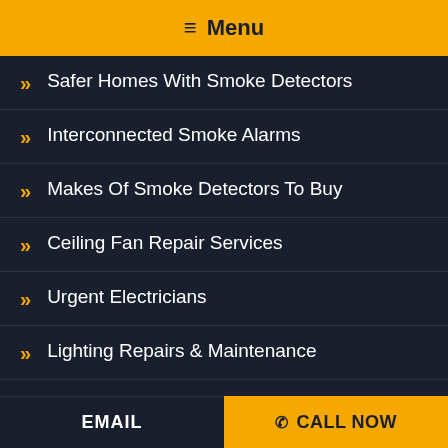≡ Menu
Safer Homes With Smoke Detectors
Interconnected Smoke Alarms
Makes Of Smoke Detectors To Buy
Ceiling Fan Repair Services
Urgent Electricians
Lighting Repairs & Maintenance
Enfield Residential Electrician House Rewires
EMAIL   CALL NOW